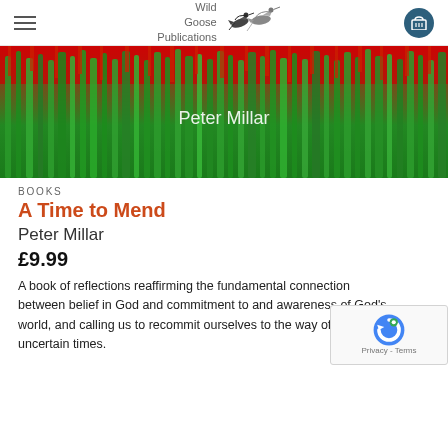Wild Goose Publications
[Figure (photo): Book cover image for 'A Time to Mend' by Peter Millar — abstract painting of green reed-like forms with red tops, text 'Peter Millar' centered in white]
BOOKS
A Time to Mend
Peter Millar
£9.99
A book of reflections reaffirming the fundamental connection between belief in God and commitment to and awareness of God's world, and calling us to recommit ourselves to the way of love in our uncertain times.